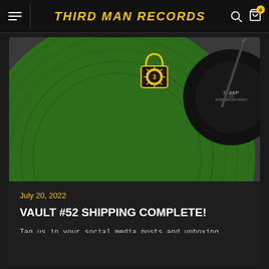THIRD MAN RECORDS
[Figure (photo): Close-up photo of a green vinyl record with a yellow Third Man Records padlock logo/label in the center. The record label reads 'SLEEP' and other text. The record is placed on a grey surface.]
July 20, 2022
VAULT #52 SHIPPING COMPLETE!
Tag us in your social media posts and unboxing videos!...